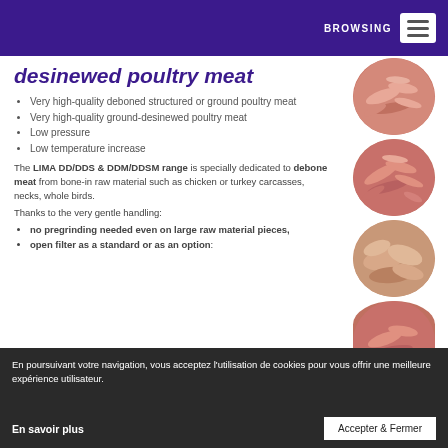BROWSING
desinewed poultry meat
Very high-quality deboned structured or ground poultry meat
Very high-quality ground-desinewed poultry meat
Low pressure
Low temperature increase
The LIMA DD/DDS & DDM/DDSM range is specially dedicated to debone meat from bone-in raw material such as chicken or turkey carcasses, necks, whole birds.
Thanks to the very gentle handling:
no pregrinding needed even on large raw material pieces,
open filter as a standard or as an option:
[Figure (photo): Circular photo of ground/desinewed pink poultry meat - top]
[Figure (photo): Circular photo of ground/desinewed pink poultry meat - middle]
[Figure (photo): Circular photo of chunked poultry meat - lower]
[Figure (photo): Circular photo of poultry meat - bottom partial]
En poursuivant votre navigation, vous acceptez l'utilisation de cookies pour vous offrir une meilleure expérience utilisateur.
En savoir plus
Accepter & Fermer